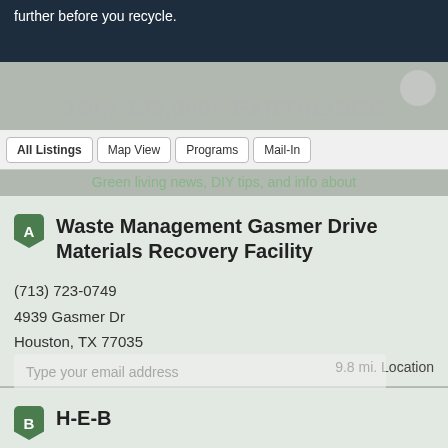further before you recycle.
JOIN 135,000+ EARTHLINGS
All Listings | Map View | Programs | Mail-In
Green living news, DIY tips, and info about
Waste Management Gasmer Drive Materials Recovery Facility
(713) 723-0749
4939 Gasmer Dr
Houston, TX 77035
9.8 mi. Location
H-E-B
(713) 647-5900
9710 Katy Freeway
Houston, TX 77055
10.4 mi. Location